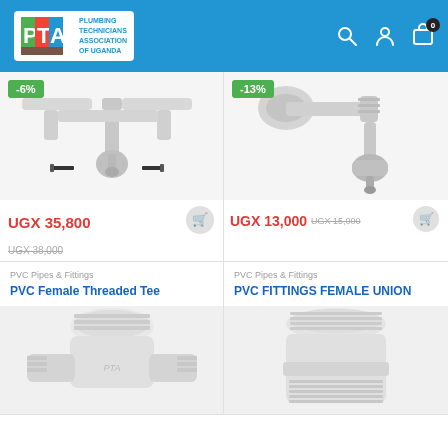Plumbing Technicians Association of Uganda
[Figure (photo): PVC double P-trap plumbing fitting, white, with small clips shown below it. Discount badge: -6%. Price: UGX 35,800, original UGX 38,000.]
[Figure (photo): PVC bottle trap / P-trap fitting, white. Discount badge: -13%. Price: UGX 13,000, original UGX 15,000.]
PVC Pipes & Fittings
PVC Female Threaded Tee
PVC Pipes & Fittings
PVC FITTINGS FEMALE UNION
[Figure (photo): PVC Female Threaded Tee fitting, white plastic, bottom half visible.]
[Figure (photo): PVC Fittings Female Union, white plastic cylindrical fitting, bottom half visible.]